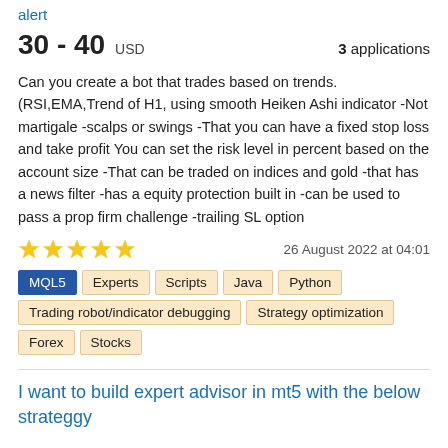alert
30 - 40 USD   3 applications
Can you create a bot that trades based on trends. (RSI,EMA,Trend of H1, using smooth Heiken Ashi indicator -Not martigale -scalps or swings -That you can have a fixed stop loss and take profit You can set the risk level in percent based on the account size -That can be traded on indices and gold -that has a news filter -has a equity protection built in -can be used to pass a prop firm challenge -trailing SL option
26 August 2022 at 04:01
MQL5
Experts
Scripts
Java
Python
Trading robot/indicator debugging
Strategy optimization
Forex
Stocks
I want to build expert advisor in mt5 with the below strateggy